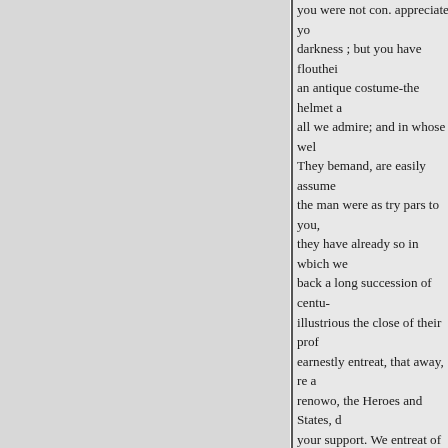you were not con. appreciate yo darkness ; but you have flouthei an antique costume-the helmet a all we admire; and in whose wel They bemand, are easily assume the man were as try pars to you, they have already so in wbich we back a long succession of centu- illustrious the close of their prof earnestly entreat, that away, re a renowo, the Heroes and States, d your support. We entreat of you shadowy glory, lived, and loved, beheld we ask, is, that you will c each Season, so long as Europ. M
D
your health will permit. We adju your own
was accompanied by a superb cr of Mr. Kemble, to you than it is t and both were handed by the aud